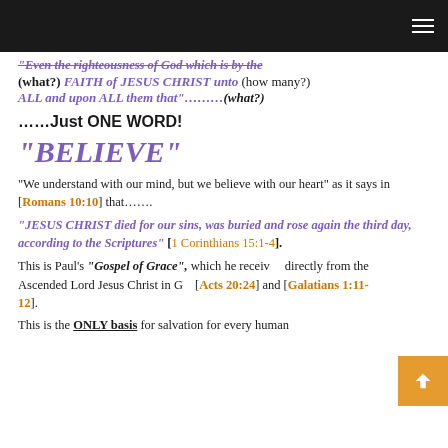[navigation bar with hamburger menu]
"Even the righteousness of God which is by the (what?) FAITH of JESUS CHRIST unto (how many?) ALL and upon ALL them that"………(what?)
……Just ONE WORD!
"BELIEVE"
"We understand with our mind, but we believe with our heart" as it says in [Romans 10:10] that……..
"JESUS CHRIST died for our sins, was buried and rose again the third day, according to the Scriptures" [1 Corinthians 15:1-4].
This is Paul's "Gospel of Grace", which he received directly from the Ascended Lord Jesus Christ in G… [Acts 20:24] and [Galatians 1:11-12].
This is the ONLY basis for salvation for every human